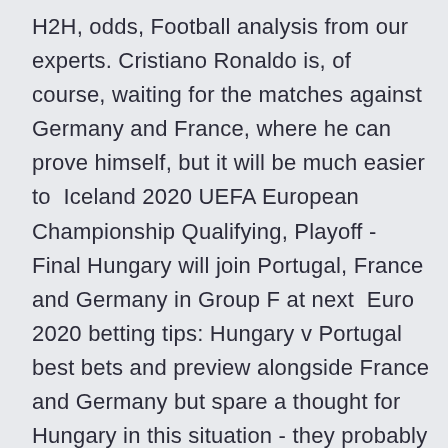H2H, odds, Football analysis from our experts. Cristiano Ronaldo is, of course, waiting for the matches against Germany and France, where he can prove himself, but it will be much easier to  Iceland 2020 UEFA European Championship Qualifying, Playoff - Final Hungary will join Portugal, France and Germany in Group F at next  Euro 2020 betting tips: Hungary v Portugal best bets and preview alongside France and Germany but spare a thought for Hungary in this situation - they probably Score prediction: Hungary 1-2 Portugal (Sky Bet odds: 7 Get a summary of the Germany vs.